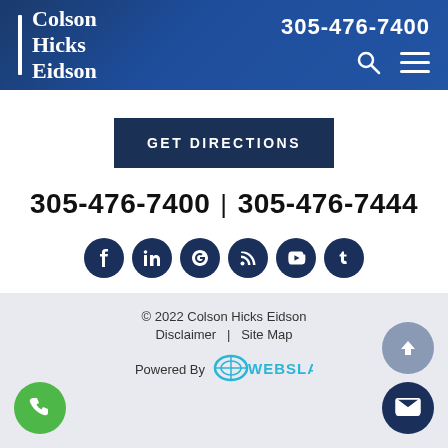Colson Hicks Eidson | 305-476-7400
GET DIRECTIONS
305-476-7400  |  305-476-7444
[Figure (other): Social media icons row: Facebook, LinkedIn, Google+/Avvo, RSS, YouTube, Tumblr]
© 2022 Colson Hicks Eidson  Disclaimer  |  Site Map  Powered By WEBSLAW